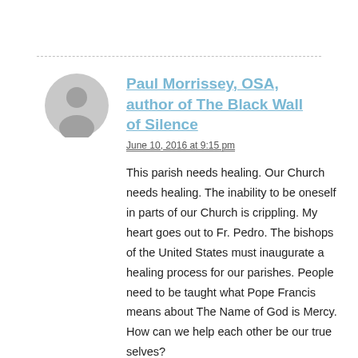Paul Morrissey, OSA, author of The Black Wall of Silence
June 10, 2016 at 9:15 pm
This parish needs healing. Our Church needs healing. The inability to be oneself in parts of our Church is crippling. My heart goes out to Fr. Pedro. The bishops of the United States must inaugurate a healing process for our parishes. People need to be taught what Pope Francis means about The Name of God is Mercy. How can we help each other be our true selves?